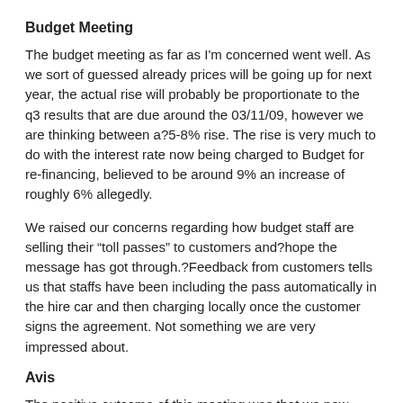Budget Meeting
The budget meeting as far as I'm concerned went well. As we sort of guessed already prices will be going up for next year, the actual rise will probably be proportionate to the q3 results that are due around the 03/11/09, however we are thinking between a?5-8% rise. The rise is very much to do with the interest rate now being charged to Budget for re-financing, believed to be around 9% an increase of roughly 6% allegedly.
We raised our concerns regarding how budget staff are selling their “toll passes” to customers and?hope the message has got through.?Feedback from customers tells us that staffs have been including the pass automatically in the hire car and then charging locally once the customer signs the agreement. Not something we are very impressed about.
Avis
The positive outcome of this meeting was that we now have Avis at Orlando International Airport to offer. Avis consider themselves (probably rightfully) to be a premium product and so rates reflect